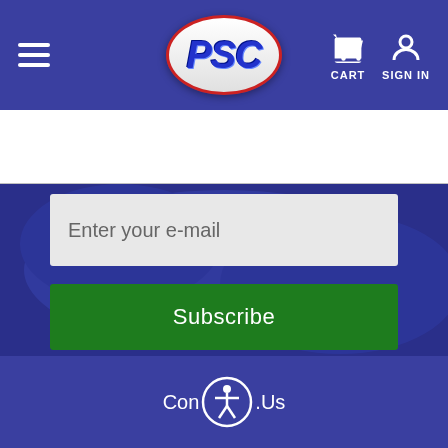[Figure (screenshot): PSC website navigation bar with hamburger menu, PSC oval logo, cart icon and sign in icon]
CART
SIGN IN
Search
Enter your e-mail
Subscribe
Contact Us